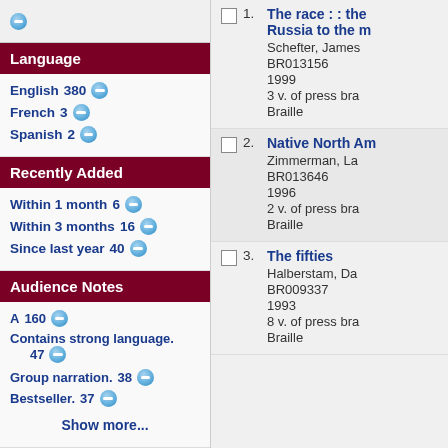Language
English 380
French 3
Spanish 2
Recently Added
Within 1 month 6
Within 3 months 16
Since last year 40
Audience Notes
A 160
Contains strong language. 47
Group narration. 38
Bestseller. 37
Show more...
The race : : the Russia to the m
Schefter, James
BR013156
1999
3 v. of press bra
Braille
Native North Am
Zimmerman, La
BR013646
1996
2 v. of press bra
Braille
The fifties
Halberstam, Da
BR009337
1993
8 v. of press bra
Braille